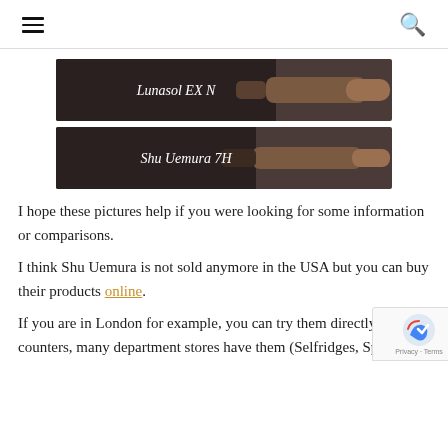☰  🔍
[Figure (photo): Close-up photo of a makeup brush labeled 'Lunasol EX N' with a dark handle and brown bristles on a gray background.]
[Figure (photo): Close-up photo of a makeup brush labeled 'Shu Uemura 7H' with a dark handle and tapered bristles on a gray background.]
I hope these pictures help if you were looking for some information or comparisons.
I think Shu Uemura is not sold anymore in the USA but you can buy their products online.
If you are in London for example, you can try them directly at their counters, many department stores have them (Selfridges, Space